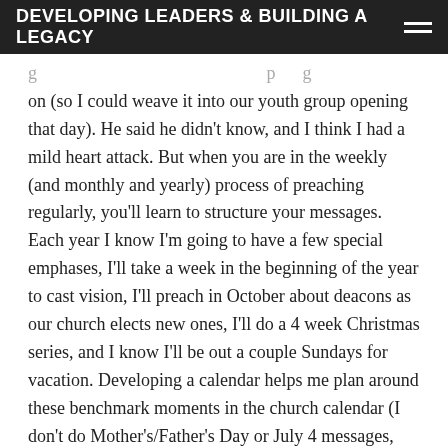DEVELOPING LEADERS & BUILDING A LEGACY
g                                                   p      g on (so I could weave it into our youth group opening that day). He said he didn't know, and I think I had a mild heart attack. But when you are in the weekly (and monthly and yearly) process of preaching regularly, you'll learn to structure your messages. Each year I know I'm going to have a few special emphases, I'll take a week in the beginning of the year to cast vision, I'll preach in October about deacons as our church elects new ones, I'll do a 4 week Christmas series, and I know I'll be out a couple Sundays for vacation. Developing a calendar helps me plan around these benchmark moments in the church calendar (I don't do Mother's/Father's Day or July 4 messages, you might and that's ok).
You'll learn to lay an egg and move on - When you're